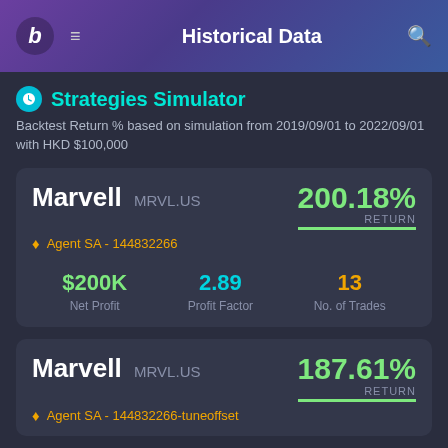Historical Data
Strategies Simulator
Backtest Return % based on simulation from 2019/09/01 to 2022/09/01 with HKD $100,000
| Stock | Ticker | Agent | Return | Net Profit | Profit Factor | No. of Trades |
| --- | --- | --- | --- | --- | --- | --- |
| Marvell | MRVL.US | Agent SA - 144832266 | 200.18% | $200K | 2.89 | 13 |
| Marvell | MRVL.US | Agent SA - 144832266-tuneoffset | 187.61% |  |  |  |